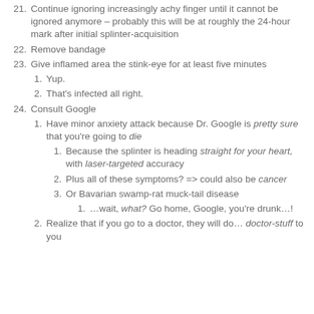21. Continue ignoring increasingly achy finger until it cannot be ignored anymore – probably this will be at roughly the 24-hour mark after initial splinter-acquisition
22. Remove bandage
23. Give inflamed area the stink-eye for at least five minutes
1. Yup.
2. That's infected all right.
24. Consult Google
1. Have minor anxiety attack because Dr. Google is pretty sure that you're going to die
1. Because the splinter is heading straight for your heart, with laser-targeted accuracy
2. Plus all of these symptoms? => could also be cancer
3. Or Bavarian swamp-rat muck-tail disease
1. …wait, what? Go home, Google, you're drunk…!
2. Realize that if you go to a doctor, they will do… doctor-stuff to you